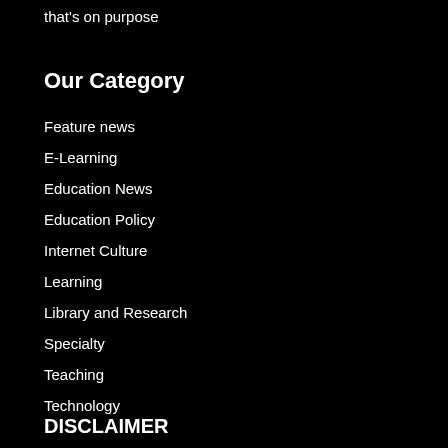that's on purpose
Our Category
Feature news
E-Learning
Education News
Education Policy
Internet Culture
Learning
Library and Research
Specialty
Teaching
Technology
DISCLAIMER